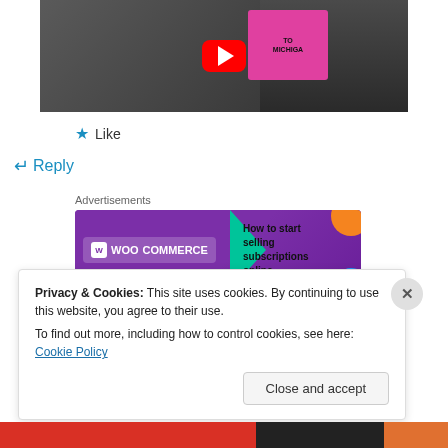[Figure (photo): YouTube video thumbnail showing a man holding a pink sign with text 'TO MICHIGAN', with a red YouTube play button overlay]
★ Like
↵ Reply
Advertisements
[Figure (other): WooCommerce advertisement banner: 'How to start selling subscriptions online']
REPORT THIS AD
Privacy & Cookies: This site uses cookies. By continuing to use this website, you agree to their use.
To find out more, including how to control cookies, see here: Cookie Policy
Close and accept